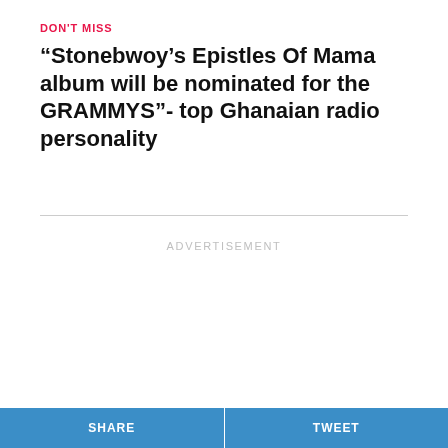DON'T MISS
“Stonebwoy’s Epistles Of Mama album will be nominated for the GRAMMYS”- top Ghanaian radio personality
ADVERTISEMENT
SHARE   TWEET